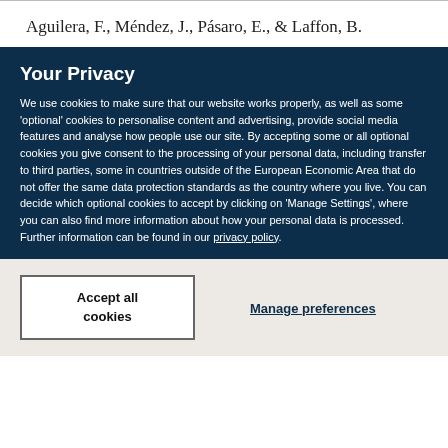Aguilera, F., Méndez, J., Pásaro, E., & Laffon, B.
Your Privacy
We use cookies to make sure that our website works properly, as well as some 'optional' cookies to personalise content and advertising, provide social media features and analyse how people use our site. By accepting some or all optional cookies you give consent to the processing of your personal data, including transfer to third parties, some in countries outside of the European Economic Area that do not offer the same data protection standards as the country where you live. You can decide which optional cookies to accept by clicking on 'Manage Settings', where you can also find more information about how your personal data is processed. Further information can be found in our privacy policy.
Accept all cookies
Manage preferences